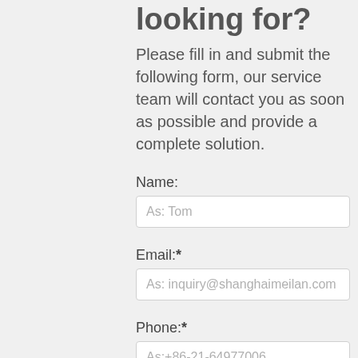looking for?
Please fill in and submit the following form, our service team will contact you as soon as possible and provide a complete solution.
Name:
As: Tom
Email:*
As: inquiry@shanghaimeilan.com
Phone:*
As:+86-21-64977006
The Location of the Project: